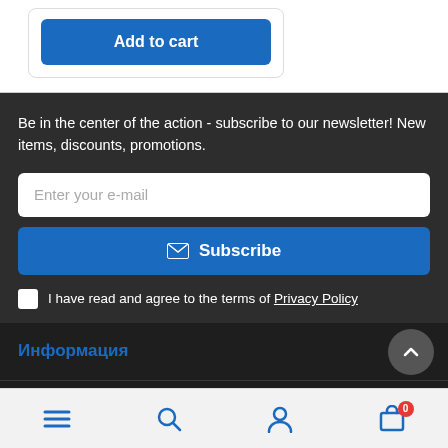[Figure (screenshot): Add to cart button - blue rounded rectangle with white text]
Be in the center of the action - subscribe to our newsletter! New items, discounts, promotions.
[Figure (screenshot): Email input field with placeholder 'Enter your e-mail']
[Figure (screenshot): Subscribe button - blue with envelope icon]
I have read and agree to the terms of Privacy Policy
Информация
Служба поддержки
Navigation bar with menu, search, account, and cart icons